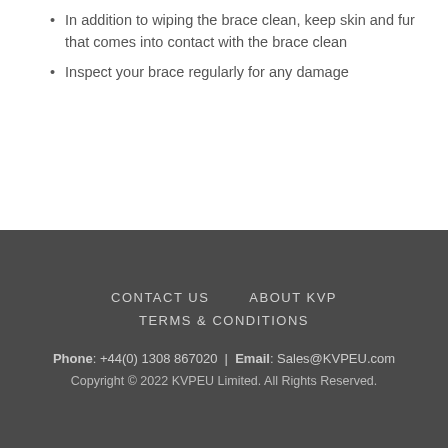In addition to wiping the brace clean, keep skin and fur that comes into contact with the brace clean
Inspect your brace regularly for any damage
CONTACT US   ABOUT KVP
TERMS & CONDITIONS
Phone: +44(0) 1308 867020 | Email: Sales@KVPEU.com
Copyright © 2022 KVPEU Limited. All Rights Reserved.